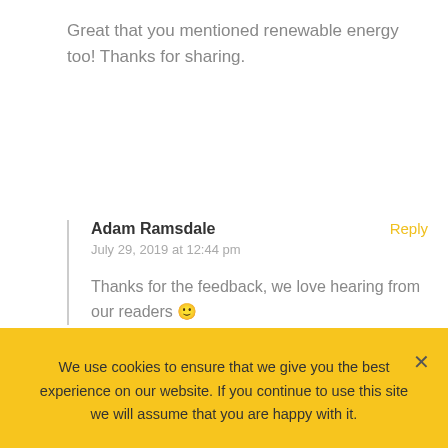Great that you mentioned renewable energy too! Thanks for sharing.
Adam Ramsdale
July 29, 2019 at 12:44 pm
Reply
Thanks for the feedback, we love hearing from our readers 🙂
We use cookies to ensure that we give you the best experience on our website. If you continue to use this site we will assume that you are happy with it.